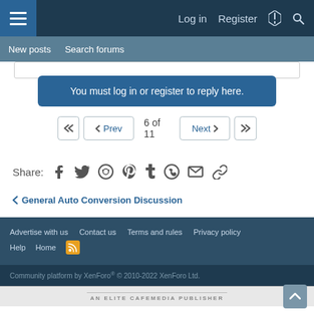Log in | Register
New posts | Search forums
You must log in or register to reply here.
6 of 11
Share: Facebook Twitter Reddit Pinterest Tumblr WhatsApp Email Link
< General Auto Conversion Discussion
Advertise with us | Contact us | Terms and rules | Privacy policy | Help | Home
Community platform by XenForo® © 2010-2022 XenForo Ltd.
AN ELITE CAFEMEDIA PUBLISHER